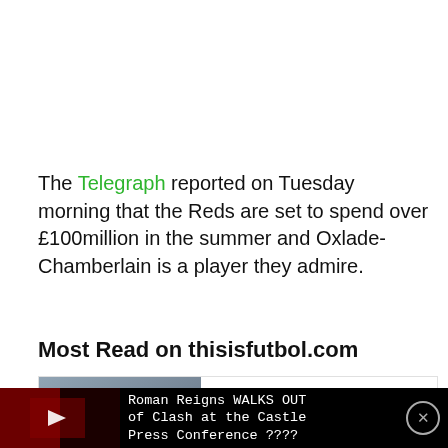The Telegraph reported on Tuesday morning that the Reds are set to spend over £100million in the summer and Oxlade-Chamberlain is a player they admire.
Most Read on thisisfutbol.com
[Figure (screenshot): Article card with football manager photo and green italic text: 'Shocking: Footage shows VAR may have made major error in Arsenal game -']
[Figure (screenshot): Video overlay bar showing WWE clip thumbnail with play button. Text: 'Roman Reigns WALKS OUT of Clash at the Castle Press Conference ????' with close X button.]